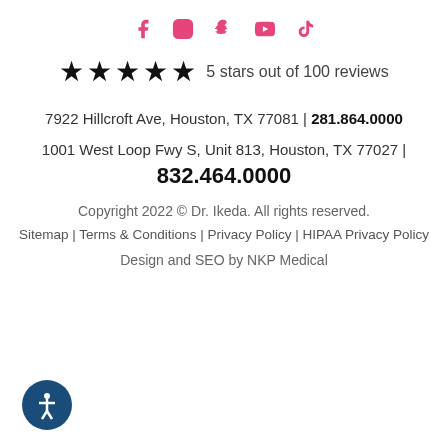[Figure (other): Social media icons: Facebook, Instagram, Snapchat, YouTube, TikTok in pink]
★ ★ ★ ★ ★  5 stars out of 100 reviews
7922 Hillcroft Ave, Houston, TX 77081 | 281.864.0000
1001 West Loop Fwy S, Unit 813, Houston, TX 77027 | 832.464.0000
Copyright 2022 © Dr. Ikeda. All rights reserved.
Sitemap | Terms & Conditions | Privacy Policy | HIPAA Privacy Policy
Design and SEO by NKP Medical
[Figure (other): Accessibility icon: person in circle with dark blue background]